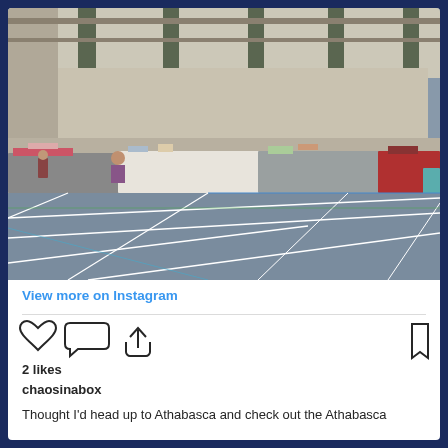[Figure (photo): Indoor market/craft fair in a large gymnasium or arena hall with vendor tables covered in tablecloths displaying goods, people browsing, concrete block walls and green pillars, sports court floor with white and blue line markings visible in the foreground]
View more on Instagram
[Figure (infographic): Instagram interaction icons: heart (like), comment bubble, share/upload arrow on the left; bookmark icon on the right]
2 likes
chaosinabox
Thought I'd head up to Athabasca and check out the Athabasca